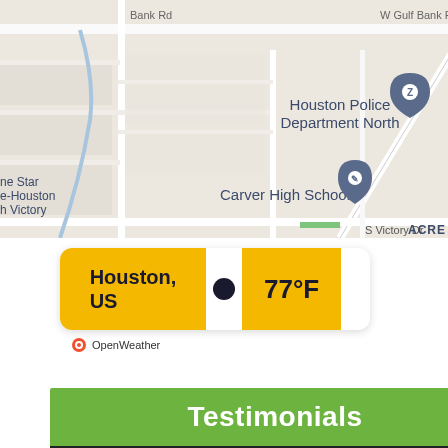[Figure (map): Google Maps screenshot showing area near Houston Police Department North and Carver High School, Houston TX. Roads visible include W Gulf Bank Rd, Bank Rd, S Victory Dr. Landmarks: Houston Police Department North (pin), Carver High School (pin). Area labeled ACRE visible at right.]
[Figure (infographic): OpenWeather widget showing Houston, US weather at 77°F with a dark circle icon on a yellow/gold and white card]
Testimonials
[Figure (screenshot): Video thumbnail showing user J's review titled 'Awesome Exterminator Revi...' with orange avatar circle containing letter J, dark background with person visible]